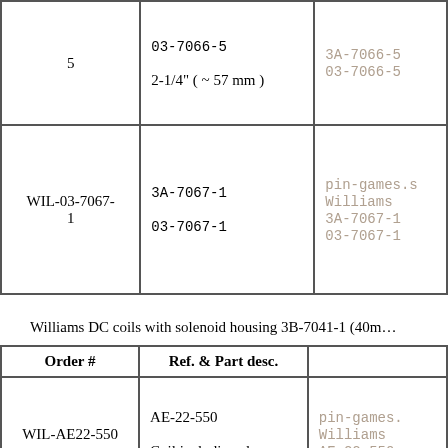| Order # | Ref. & Part desc. |  |
| --- | --- | --- |
| 5 | 03-7066-5
2-1/4" ( ~ 57 mm ) | 3A-7066-5
03-7066-5 |
| WIL-03-7067-1 | 3A-7067-1
03-7067-1 | pin-games.s
Williams
3A-7067-1
03-7067-1 |
Williams DC coils with solenoid housing 3B-7041-1 (40mm...
| Order # | Ref. & Part desc. |  |
| --- | --- | --- |
| WIL-AE22-550 | AE-22-550
Coil including sleeve | pin-games.
Williams
AE-22-550 |